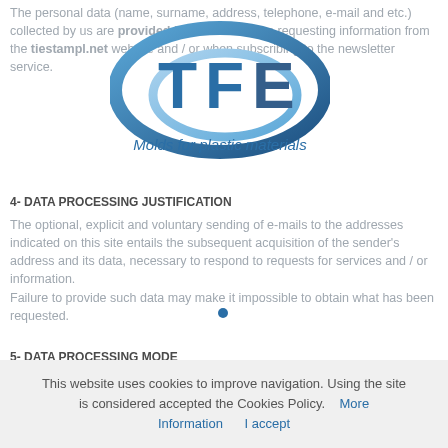The personal data (name, surname, address, telephone, e-mail and etc.) collected by us are provided by the user when requesting information from the tiestampl.net website and / or when subscribing to the newsletter service.
[Figure (logo): TFE logo with oval swoosh shapes in blue gradient and tagline 'Molds for plastic materials' in italic blue text]
4- DATA PROCESSING JUSTIFICATION
The optional, explicit and voluntary sending of e-mails to the addresses indicated on this site entails the subsequent acquisition of the sender's address and its data, necessary to respond to requests for services and / or information.
Failure to provide such data may make it impossible to obtain what has been requested.
5- DATA PROCESSING MODE
This website uses cookies to improve navigation. Using the site is considered accepted the Cookies Policy.   More Information     I accept